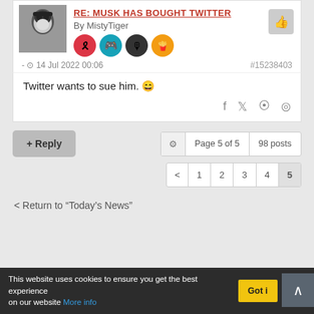RE: MUSK HAS BOUGHT TWITTER
By MistyTiger
- 14 Jul 2022 00:06  #15238403
Twitter wants to sue him. 😄
+ Reply   Page 5 of 5   98 posts
< 1 2 3 4 5
< Return to "Today's News"
This website uses cookies to ensure you get the best experience on our website More info   Got it